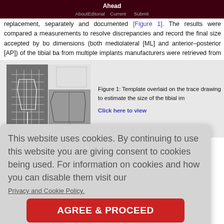Ahead
About  Editorial  Current  Submit
replacement, separately and documented [Figure 1]. The results were compared a measurements to resolve discrepancies and record the final size accepted by bo dimensions (both mediolateral [ML] and anterior–posterior [AP]) of the tibial ba from multiple implants manufacturers were retrieved from their product monogram
[Figure (photo): Two-panel image showing a surgical template overlaid on a tracing/drawing to estimate the size of the tibial implant]
Figure 1: Template overlaid on the trace drawing to estimate the size of the tibial im
Click here to view
ation, Redm n and standa ment analysis icance was s
This website uses cookies. By continuing to use this website you are giving consent to cookies being used. For information on cookies and how you can disable them visit our
Privacy and Cookie Policy.
AGREE & PROCEED